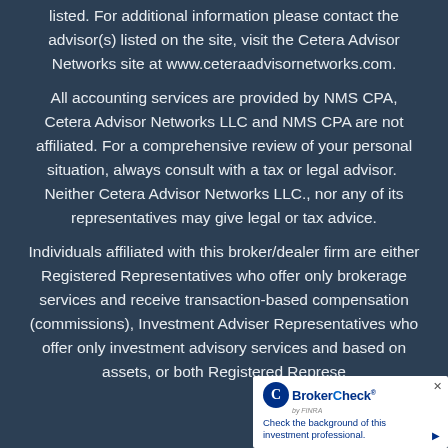listed. For additional information please contact the advisor(s) listed on the site, visit the Cetera Advisor Networks site at www.ceteraadvisornetworks.com.
All accounting services are provided by NMS CPA, Cetera Advisor Networks LLC and NMS CPA are not affiliated. For a comprehensive review of your personal situation, always consult with a tax or legal advisor.  Neither Cetera Advisor Networks LLC., nor any of its representatives may give legal or tax advice.
Individuals affiliated with this broker/dealer firm are either Registered Representatives who offer only brokerage services and receive transaction-based compensation (commissions), Investment Adviser Representatives who offer only investment advisory services and based on assets, or both Registered Represe...
[Figure (other): BrokerCheck widget overlay in bottom-right corner. Shows BrokerCheck logo (blue circle with C, text 'BrokerCheck by FINRA') and tagline 'Check the background of this investment professional.' with arrow.]